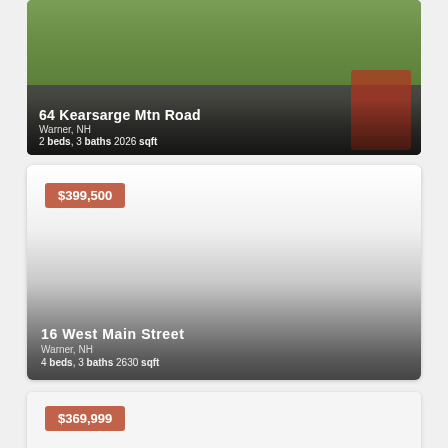[Figure (photo): Aerial/road photo of 64 Kearsarge Mtn Road property showing driveway and grass]
64 Kearsarge Mtn Road
Warner, NH
2 beds, 3 baths 2026 sqft
[Figure (photo): Property photo of 16 West Main Street, large card with price badge $399,500]
$399,500
16 West Main Street
Warner, NH
4 beds, 3 baths 2630 sqft
[Figure (photo): Partial property card showing price badge $369,999 at bottom of page]
$369,999